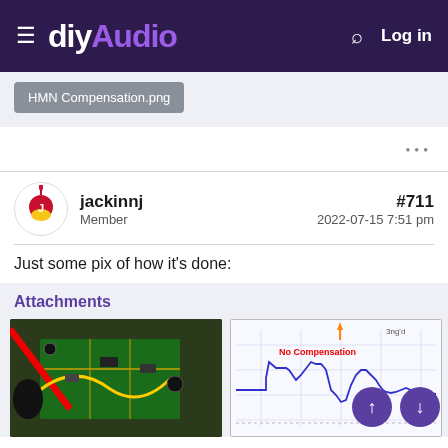diyAudio — Log in
[Figure (screenshot): File attachment chip showing 'HMN Compensation.png' on a light blue-grey background]
• • •
jackinnj
Member
#711
2022-07-15 7:51 pm
Just some pix of how it's done:
Attachments
[Figure (photo): Photo of electronic circuit board with red and yellow wires and crocodile clips]
[Figure (continuous-plot): Oscilloscope or signal plot showing 'No Compensation' label in red, with a blue waveform showing a square-wave-like signal with overshoot, on a grid background]